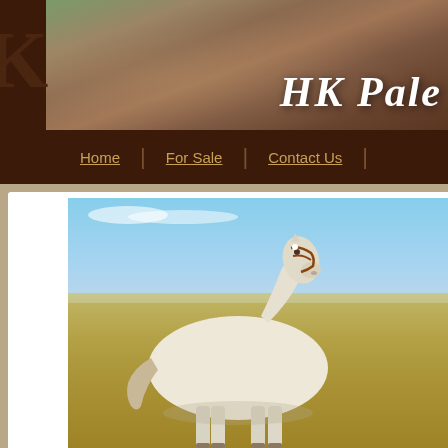[Figure (photo): Website header banner showing a close-up of a horse's face/eye area with brown tones. Text 'HK Pale' overlaid in white italic script on the right side.]
Home | For Sale | Contact Us |
[Figure (photo): A pale/cremello or palomino horse standing in a field with dry golden grass and blue sky in background, wearing a brown halter/bridle, photographed from the side.]